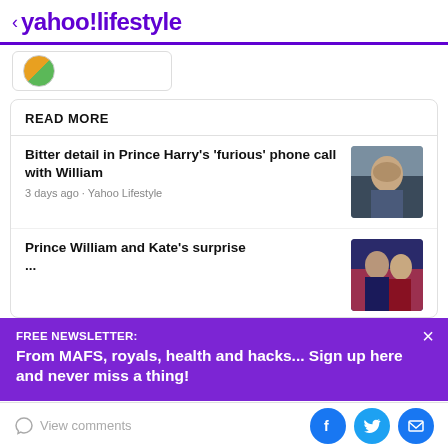< yahoo!lifestyle
[Figure (photo): Partial profile image thumbnail visible at top left]
READ MORE
Bitter detail in Prince Harry's 'furious' phone call with William — 3 days ago · Yahoo Lifestyle
Prince William and Kate's surprise...
FREE NEWSLETTER:
From MAFS, royals, health and hacks... Sign up here and never miss a thing!
View comments